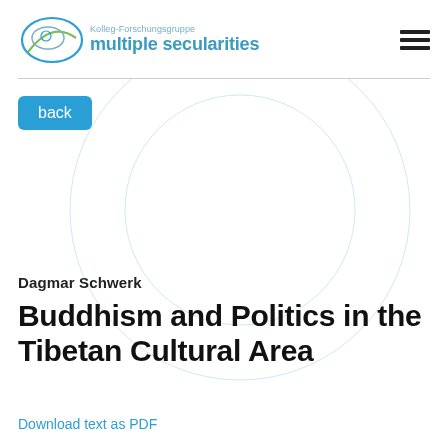Kolleg-Forschungsgruppe multiple secularities
back
Dagmar Schwerk
Buddhism and Politics in the Tibetan Cultural Area
Download text as PDF